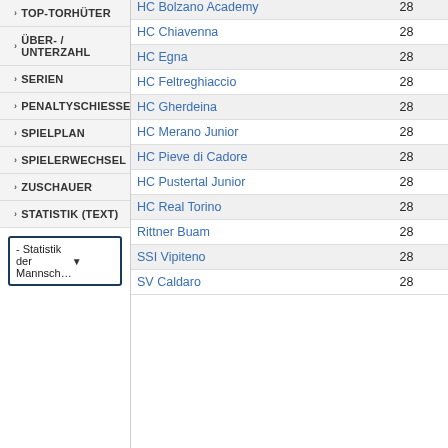TOP-TORHÜTER
ÜBER-/UNTERZAHL
SERIEN
PENALTYSCHIESSEN
SPIELPLAN
SPIELERWECHSEL
ZUSCHAUER
STATISTIK (TEXT)
- Statistik der Mannsch...
| HC Bolzano Academy | 28 | 4 |
| HC Chiavenna | 28 | 15 |
| HC Egna | 28 | 12 |
| HC Feltreghiaccio | 28 | 23 |
| HC Gherdeina | 28 | 26 |
| HC Merano Junior | 28 | 10 |
| HC Pieve di Cadore | 28 | 28 |
| HC Pustertal Junior | 28 | 18 |
| HC Real Torino | 28 | 10 |
| Rittner Buam | 28 | 23 |
| SSI Vipiteno | 28 | 11 |
| SV Caldaro | 28 | 8 |